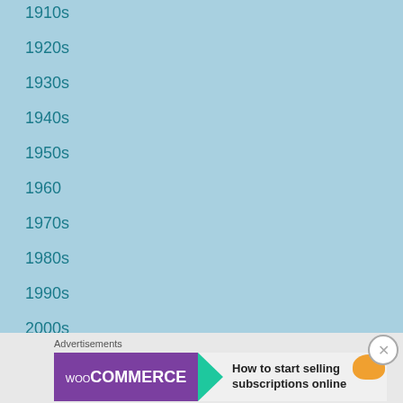1910s
1920s
1930s
1940s
1950s
1960
1970s
1980s
1990s
2000s
2010s
2020
25 Days of Christmas
Advertisements
[Figure (screenshot): WooCommerce advertisement banner: purple box with WooCommerce logo and teal arrow, text 'How to start selling subscriptions online', orange decorative shape on right]